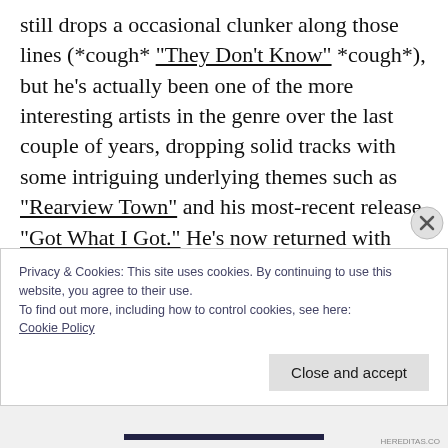still drops a occasional clunker along those lines (*cough* "They Don't Know" *cough*), but he's actually been one of the more interesting artists in the genre over the last couple of years, dropping solid tracks with some intriguing underlying themes such as "Rearview Town" and his most-recent release "Got What I Got." He's now returned with "Blame It On You," the third single from his
Privacy & Cookies: This site uses cookies. By continuing to use this website, you agree to their use.
To find out more, including how to control cookies, see here:
Cookie Policy
Close and accept